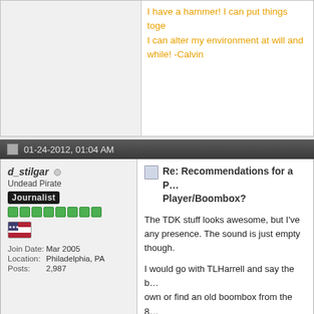I have a hammer! I can put things toge... I can alter my environment at will and... while! -Calvin
01-24-2012, 01:04 AM
d_stilgar
Undead Pirate
Journalist
| Field | Value |
| --- | --- |
| Join Date: | Mar 2005 |
| Location: | Philadelphia, PA |
| Posts: | 2,987 |
Re: Recommendations for a P... Player/Boombox?
The TDK stuff looks awesome, but I've... any presence. The sound is just empty... though.
I would go with TLHarrell and say the b... own or find an old boombox from the 8... a 3.5mm input.
There's a pretty decent guide at metku... pretty fun stuff there too. I would chec...
And I would also check some pawn sh... Sadly, there's actually a pretty big colle... just have that look, you know?